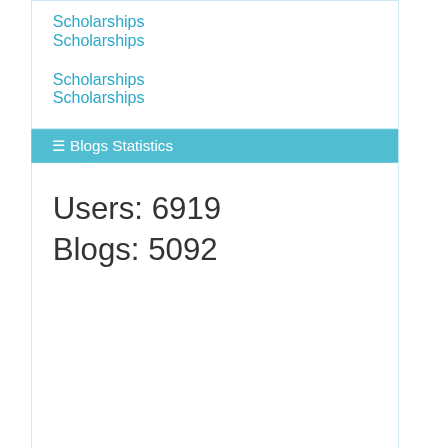Scholarships
Scholarships
Scholarships
Scholarships
Scholarships
Program
☰ Blogs Statistics
Users: 6919
Blogs: 5092